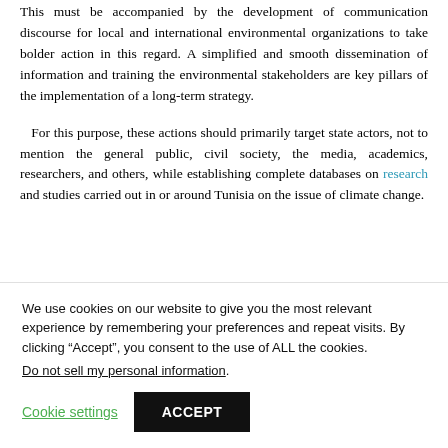This must be accompanied by the development of communication discourse for local and international environmental organizations to take bolder action in this regard. A simplified and smooth dissemination of information and training the environmental stakeholders are key pillars of the implementation of a long-term strategy.
For this purpose, these actions should primarily target state actors, not to mention the general public, civil society, the media, academics, researchers, and others, while establishing complete databases on research and studies carried out in or around Tunisia on the issue of climate change.
[Figure (other): Advertisement bar with play/forward icon on the right side]
We use cookies on our website to give you the most relevant experience by remembering your preferences and repeat visits. By clicking “Accept”, you consent to the use of ALL the cookies.
Do not sell my personal information.
Cookie settings
ACCEPT